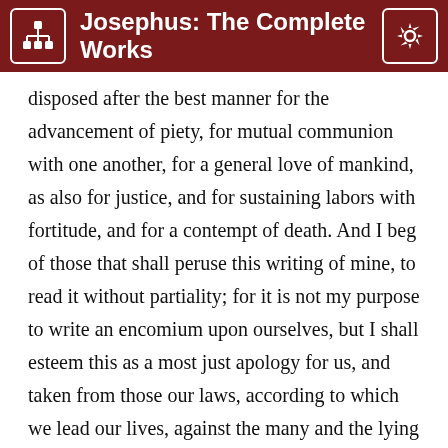Josephus: The Complete Works
disposed after the best manner for the advancement of piety, for mutual communion with one another, for a general love of mankind, as also for justice, and for sustaining labors with fortitude, and for a contempt of death. And I beg of those that shall peruse this writing of mine, to read it without partiality; for it is not my purpose to write an encomium upon ourselves, but I shall esteem this as a most just apology for us, and taken from those our laws, according to which we lead our lives, against the many and the lying objections that have been made against us. Moreover, since this Apollonius does not do like Apion, and lay a continued